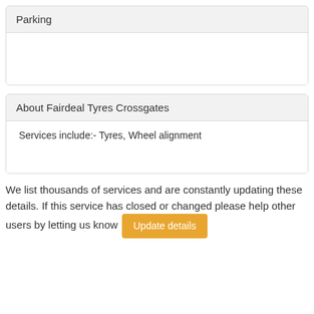Parking
About Fairdeal Tyres Crossgates
Services include:- Tyres, Wheel alignment
We list thousands of services and are constantly updating these details. If this service has closed or changed please help other users by letting us know
Update details